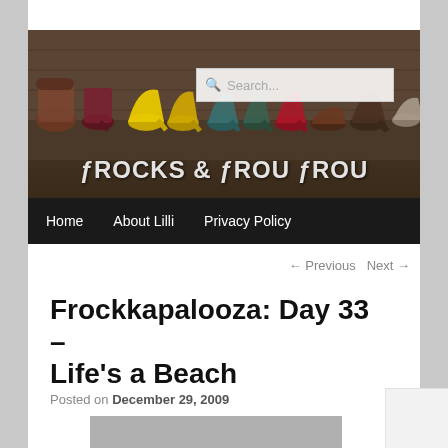[Figure (photo): Header image showing a row of women's shoes/heels in various colors on a wooden surface with the blog name 'FROCKS & FROU FROU' overlaid in large decorative text, and a search bar visible]
Home   About Lilli   Privacy Policy
← Previous   Next →
Frockkapalooza: Day 33 – Life's a Beach
Posted on December 29, 2009
[Figure (photo): Bottom portion of a gray/beach image partially visible at the bottom of the page]